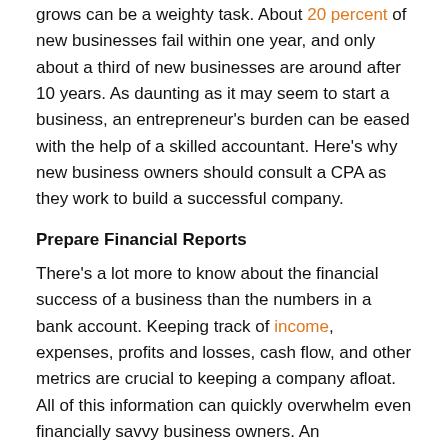grows can be a weighty task. About 20 percent of new businesses fail within one year, and only about a third of new businesses are around after 10 years. As daunting as it may seem to start a business, an entrepreneur's burden can be eased with the help of a skilled accountant. Here's why new business owners should consult a CPA as they work to build a successful company.
Prepare Financial Reports
There's a lot more to know about the financial success of a business than the numbers in a bank account. Keeping track of income, expenses, profits and losses, cash flow, and other metrics are crucial to keeping a company afloat. All of this information can quickly overwhelm even financially savvy business owners. An experienced CPA can take the weight off of business owners and deliver detailed financial reports that show exactly where the business stands.
Understand Your Company's Data
There are mountains of financial data for businesses to sort